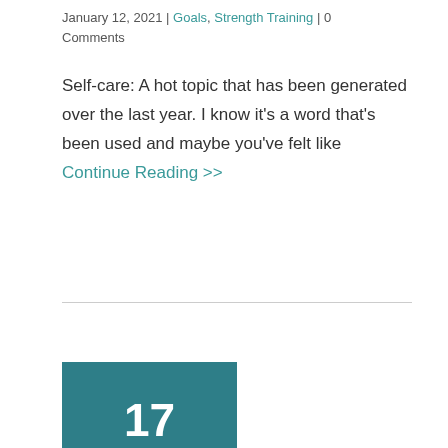January 12, 2021 | Goals, Strength Training | 0 Comments
Self-care: A hot topic that has been generated over the last year. I know it’s a word that’s been used and maybe you’ve felt like Continue Reading >>
[Figure (other): Teal date box showing day 17, month and year 09, 2020]